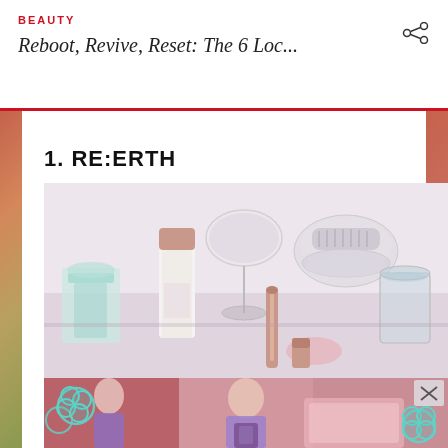BEAUTY
Reboot, Revive, Reset: The 6 Loc...
1. RE:ERTH
[Figure (photo): Beauty product flatlay showing skincare bottles and glass containers on a white surface with rose gold caps]
[Figure (photo): Bottom banner with colorful collage imagery showing person in purple outfit and decorative flower cutouts]